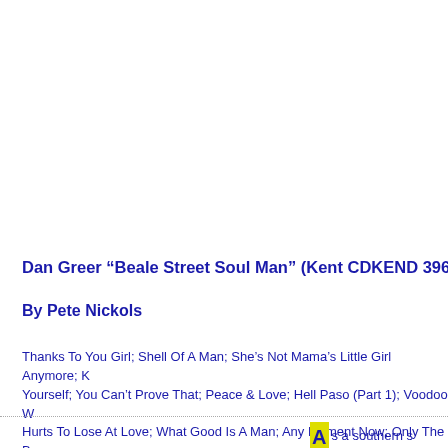Dan Greer  “Beale Street Soul Man”  (Kent CDKEND 396)
By Pete Nickols
Thanks To You Girl; Shell Of A Man; She’s Not Mama’s Little Girl Anymore; K[...] Yourself; You Can’t Prove That; Peace & Love; Hell Paso (Part 1); Voodoo W[...] Hurts To Lose At Love; What Good Is A Man; Any Moment Now; Only The B[...] All End; Share; So Good To Be Young.
As a southern s